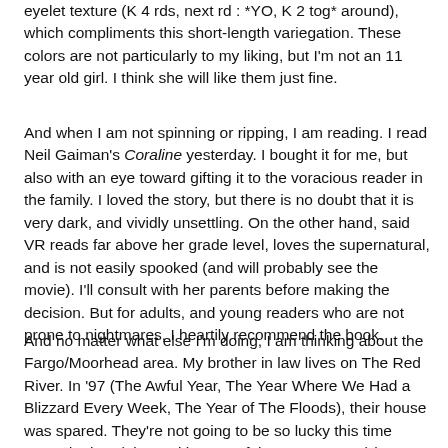eyelet texture (K 4 rds, next rd : *YO, K 2 tog* around), which compliments this short-length variegation. These colors are not particularly to my liking, but I'm not an 11 year old girl. I think she will like them just fine.
And when I am not spinning or ripping, I am reading. I read Neil Gaiman's Coraline yesterday. I bought it for me, but also with an eye toward gifting it to the voracious reader in the family. I loved the story, but there is no doubt that it is very dark, and vividly unsettling. On the other hand, said VR reads far above her grade level, loves the supernatural, and is not easily spooked (and will probably see the movie). I'll consult with her parents before making the decision. But for adults, and young readers who are not prone to nightmares, I heartily recommend the book.
And no matter what else I'm doing, I am thinking about the Fargo/Moorhead area. My brother in law lives on The Red River. In '97 (The Awful Year, The Year Where We Had a Blizzard Every Week, The Year of The Floods), their house was spared. They're not going to be so lucky this time around. They (along with most of those two towns) have